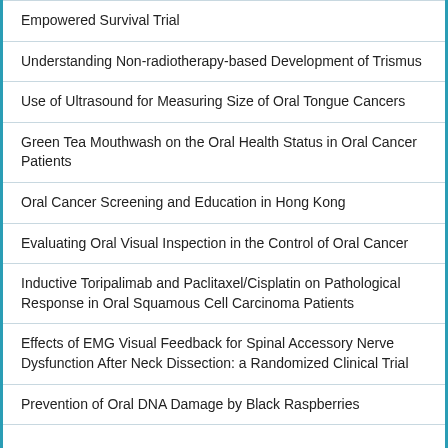Empowered Survival Trial
Understanding Non-radiotherapy-based Development of Trismus
Use of Ultrasound for Measuring Size of Oral Tongue Cancers
Green Tea Mouthwash on the Oral Health Status in Oral Cancer Patients
Oral Cancer Screening and Education in Hong Kong
Evaluating Oral Visual Inspection in the Control of Oral Cancer
Inductive Toripalimab and Paclitaxel/Cisplatin on Pathological Response in Oral Squamous Cell Carcinoma Patients
Effects of EMG Visual Feedback for Spinal Accessory Nerve Dysfunction After Neck Dissection: a Randomized Clinical Trial
Prevention of Oral DNA Damage by Black Raspberries